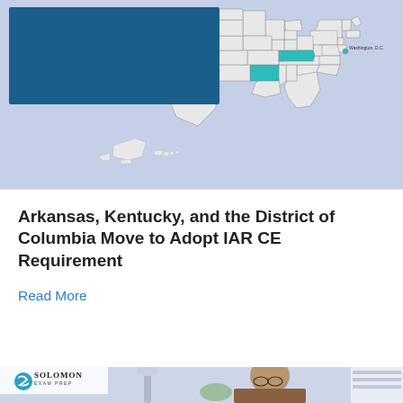[Figure (map): Map of the United States with Arkansas and Kentucky highlighted in teal/cyan color, and Washington DC indicated by a label. The map sits on a light periwinkle-blue background. A dark blue title box overlays the upper-left of the map reading 'Arkansas, Kentucky, and the District of Columbia Move to Adopt IAR CE Requirement'.]
Arkansas, Kentucky, and the District of Columbia Move to Adopt IAR CE Requirement
Read More
[Figure (photo): Photo of a man with a beard and glasses smiling, sitting at a desk with a lamp and plants, with a white bookshelf in the background. Solomon Exam Prep logo in the upper left corner of the photo.]